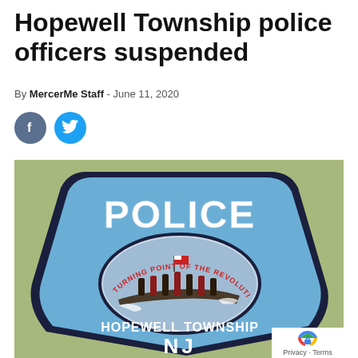Hopewell Township police officers suspended
By MercerMe Staff - June 11, 2020
[Figure (illustration): Hopewell Township Police badge/patch showing 'POLICE' text at top, an oval image depicting Washington Crossing the Delaware, text reading 'TURNING POINT OF THE REVOLUTION' and 'HOPEWELL TOWNSHIP' with 'NJ' at bottom, on a light green background.]
Privacy - Terms